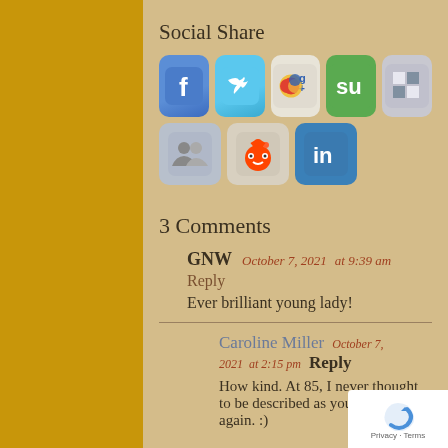Social Share
[Figure (infographic): Row of social sharing icons: Facebook (blue, f logo), Twitter (blue, bird), Google+ (colorful G+), StumbleUpon (green su), and a black/white checkerboard icon]
[Figure (infographic): Second row of social sharing icons: a people/contacts icon (gray), Reddit (alien mascot), LinkedIn (blue in logo)]
3 Comments
GNW   October 7, 2021   at 9:39 am
Reply
Ever brilliant young lady!
Caroline Miller   October 7, 2021   at 2:15 pm   Reply
How kind. At 85, I never thought to be described as young woman again. :)